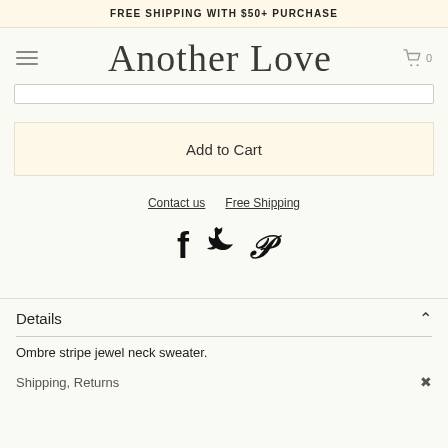FREE SHIPPING WITH $50+ PURCHASE
Another Love
Add to Cart
Contact us   Free Shipping
[Figure (illustration): Social media icons: Facebook (f), Twitter (bird), Pinterest (P)]
Details
Ombre stripe jewel neck sweater.
Shipping, Returns